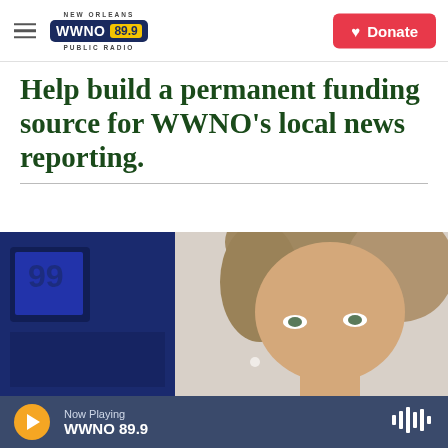NEW ORLEANS WWNO 89.9 PUBLIC RADIO | Donate
Help build a permanent funding source for WWNO's local news reporting.
[Figure (photo): Close-up photo of a woman with short wavy grey-brown hair, wearing a pearl earring, with a blue banner/sign visible in the background.]
Now Playing WWNO 89.9